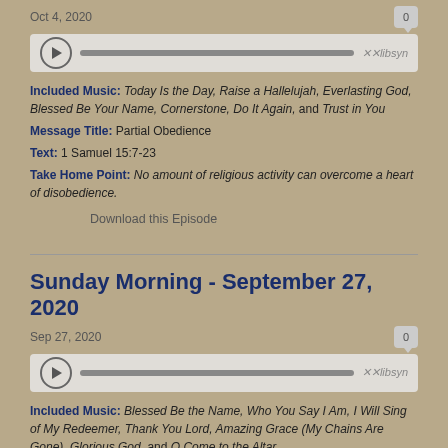Oct 4, 2020
[Figure (other): Audio player widget with play button, progress bar, and libsyn logo]
Included Music: Today Is the Day, Raise a Hallelujah, Everlasting God, Blessed Be Your Name, Cornerstone, Do It Again, and Trust in You
Message Title: Partial Obedience
Text: 1 Samuel 15:7-23
Take Home Point: No amount of religious activity can overcome a heart of disobedience.
Download this Episode
Sunday Morning - September 27, 2020
Sep 27, 2020
[Figure (other): Audio player widget with play button, progress bar, and libsyn logo]
Included Music: Blessed Be the Name, Who You Say I Am, I Will Sing of My Redeemer, Thank You Lord, Amazing Grace (My Chains Are Gone), Glorious God, and O Come to the Altar
Message Title: Doing Faith
Text: James 1:22-25
Take Home Point: God hasn't just called us to know His Word, He has called